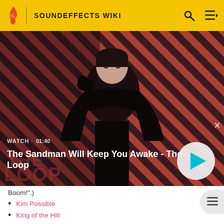SOUNDEFFECTS WIKI
[Figure (screenshot): Video thumbnail for 'The Sandman Will Keep You Awake - The Loop' showing a dark-clad figure with a black bird on their shoulder against a red and black diagonal striped background. Shows WATCH · 01:40 label and a play button.]
Boom!")
Kim Possible
King of the Hill
Lady Lovely Locks and the Pixietails (First heard during the end of "The Bundle".)
The Loop · of the Sandman House of (2006 TV Series)